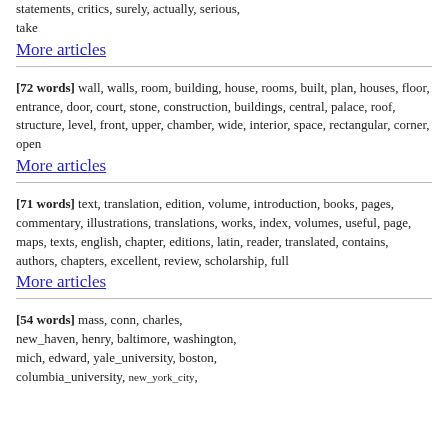statements, critics, surely, actually, serious, take
More articles
[72 words] wall, walls, room, building, house, rooms, built, plan, houses, floor, entrance, door, court, stone, construction, buildings, central, palace, roof, structure, level, front, upper, chamber, wide, interior, space, rectangular, corner, open
More articles
[71 words] text, translation, edition, volume, introduction, books, pages, commentary, illustrations, translations, works, index, volumes, useful, page, maps, texts, english, chapter, editions, latin, reader, translated, contains, authors, chapters, excellent, review, scholarship, full
More articles
[54 words] mass, conn, charles, new_haven, henry, baltimore, washington, mich, edward, yale_university, boston, columbia_university, new_york_city,